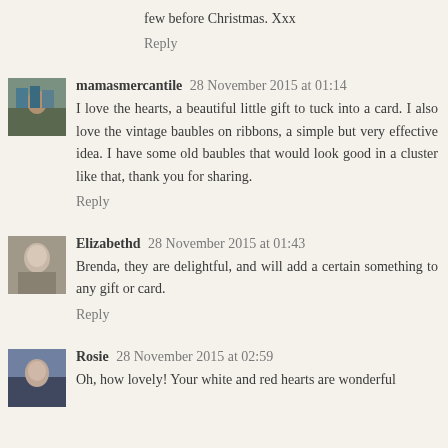few before Christmas. Xxx
Reply
mamasmercantile 28 November 2015 at 01:14
I love the hearts, a beautiful little gift to tuck into a card. I also love the vintage baubles on ribbons, a simple but very effective idea. I have some old baubles that would look good in a cluster like that, thank you for sharing.
Reply
Elizabethd 28 November 2015 at 01:43
Brenda, they are delightful, and will add a certain something to any gift or card.
Reply
Rosie 28 November 2015 at 02:59
Oh, how lovely! Your white and red hearts are wonderful